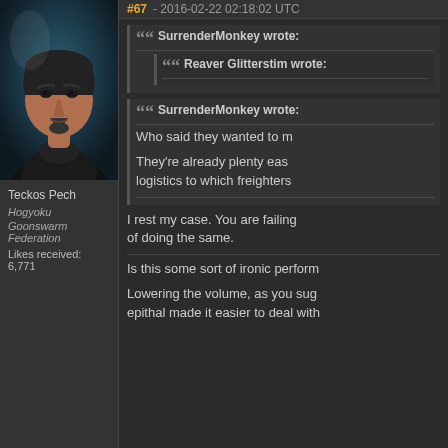#67 - 2016-02-22 02:18:02 UTC
[Figure (photo): Forum avatar image of a man with short dark hair and a goatee, wearing dark clothing, against a blue-tinted background]
Teckos Pech
Hogyoku
Goonswarm Federation
Likes received: 6,771
SurrenderMonkey wrote:
Reaver Glitterstim wrote:
SurrenderMonkey wrote:
Who said they wanted to m
They're already plenty eas logistics to which freighters
I rest my case. You are failing of doing the same.
Is this some sort of ironic perform
Lowering the volume, as you sug epithal made it easier to deal with